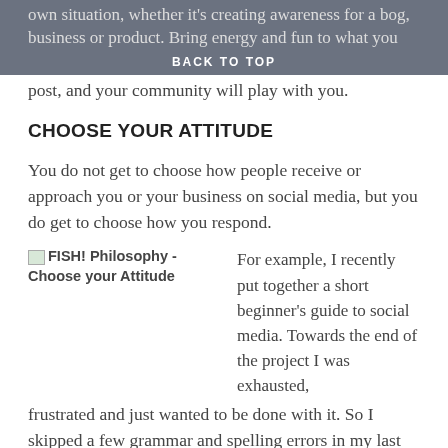BACK TO TOP
own situation, whether it's creating awareness for a blog, business or product. Bring energy and fun to what you post, and your community will play with you.
CHOOSE YOUR ATTITUDE
You do not get to choose how people receive or approach you or your business on social media, but you do get to choose how you respond.
[Figure (illustration): FISH! Philosophy - Choose your Attitude image placeholder with broken image icon]
For example, I recently put together a short beginner's guide to social media. Towards the end of the project I was exhausted,
frustrated and just wanted to be done with it. So I skipped a few grammar and spelling errors in my last review. A